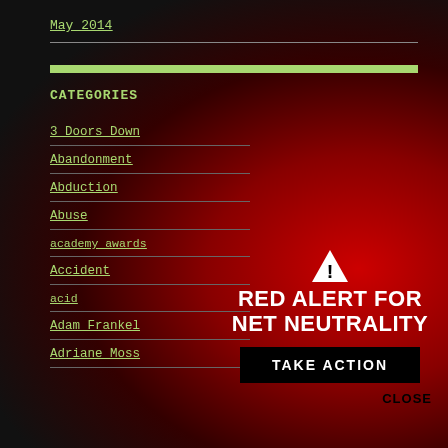May 2014
CATEGORIES
3 Doors Down
Abandonment
Abduction
Abuse
academy awards
Accident
acid
Adam Frankel
Adriane Moss
[Figure (infographic): Red Alert for Net Neutrality banner with warning triangle icon, bold white text reading RED ALERT FOR NET NEUTRALITY, a black TAKE ACTION button, and a CLOSE link on a red gradient background.]